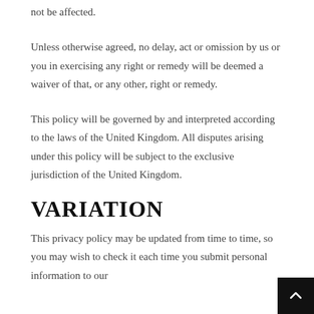not be affected.
Unless otherwise agreed, no delay, act or omission by us or you in exercising any right or remedy will be deemed a waiver of that, or any other, right or remedy.
This policy will be governed by and interpreted according to the laws of the United Kingdom. All disputes arising under this policy will be subject to the exclusive jurisdiction of the United Kingdom.
VARIATION
This privacy policy may be updated from time to time, so you may wish to check it each time you submit personal information to our